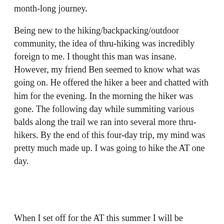month-long journey.
Being new to the hiking/backpacking/outdoor community, the idea of thru-hiking was incredibly foreign to me. I thought this man was insane. However, my friend Ben seemed to know what was going on. He offered the hiker a beer and chatted with him for the evening. In the morning the hiker was gone. The following day while summiting various balds along the trail we ran into several more thru-hikers. By the end of this four-day trip, my mind was pretty much made up. I was going to hike the AT one day.
When I set off for the AT this summer I will be heading south. I will start at the northern terminus at Katahdin mid-July and plan to get to Georgia in mid- to late-November. Ideally, I will finish just before Thanksgiving. Starting in the North with notoriously more difficult terrain, I suspect it will take longer to get my trail legs and I will move slower with less miles per day.